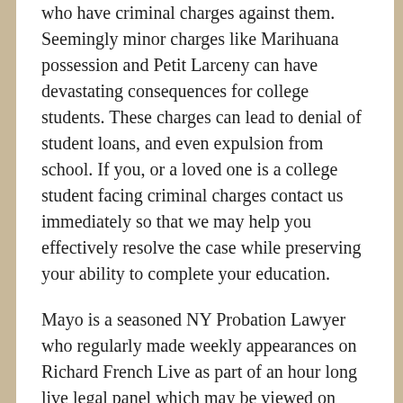who have criminal charges against them. Seemingly minor charges like Marihuana possession and Petit Larceny can have devastating consequences for college students. These charges can lead to denial of student loans, and even expulsion from school. If you, or a loved one is a college student facing criminal charges contact us immediately so that we may help you effectively resolve the case while preserving your ability to complete your education.
Mayo is a seasoned NY Probation Lawyer who regularly made weekly appearances on Richard French Live as part of an hour long live legal panel which may be viewed on WRNN. The show was taped live every Wednesday from 6:00 pm to 7:00 p.m. and airs throughout New York, Connecticut and New Jersey, including the five boroughs of New